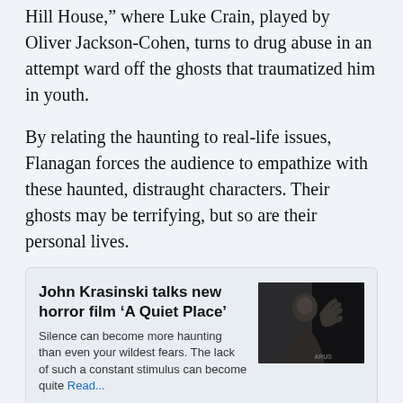Hill House," where Luke Crain, played by Oliver Jackson-Cohen, turns to drug abuse in an attempt ward off the ghosts that traumatized him in youth.
By relating the haunting to real-life issues, Flanagan forces the audience to empathize with these haunted, distraught characters. Their ghosts may be terrifying, but so are their personal lives.
[Figure (infographic): Article card with title 'John Krasinski talks new horror film ‘A Quiet Place’', preview text 'Silence can become more haunting than even your wildest fears. The lack of such a constant stimulus can become quite Read...', and a thumbnail photo of a bearded man waving against a dark background.]
Fear of the Unknown
Flanagan plays on the real-world fear of the unknown. Rather than focusing the majority of his